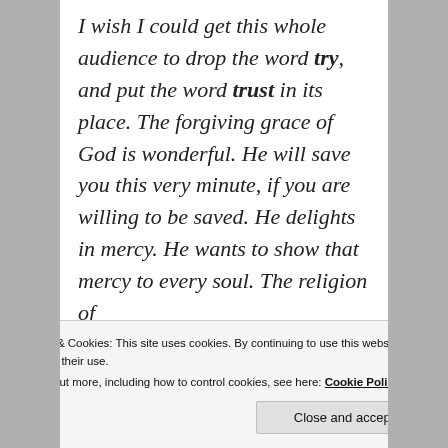I wish I could get this whole audience to drop the word try, and put the word trust in its place. The forgiving grace of God is wonderful. He will save you this very minute, if you are willing to be saved. He delights in mercy. He wants to show that mercy to every soul. The religion of
Privacy & Cookies: This site uses cookies. By continuing to use this website, you agree to their use.
To find out more, including how to control cookies, see here: Cookie Policy